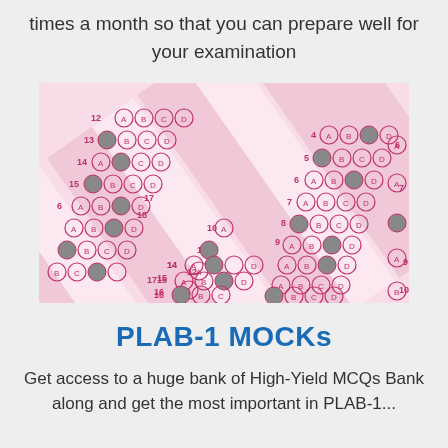times a month so that you can prepare well for your examination
[Figure (photo): Close-up photo of a multiple choice answer sheet (bubble sheet) with numbered rows and A, B, C, D bubble options, some filled in with dark pencil marks. The sheet has a pink/light red color scheme with diagonal layout.]
PLAB-1 MOCKs
Get access to a huge bank of High-Yield MCQs Bank along and get the most important in PLAB-1...